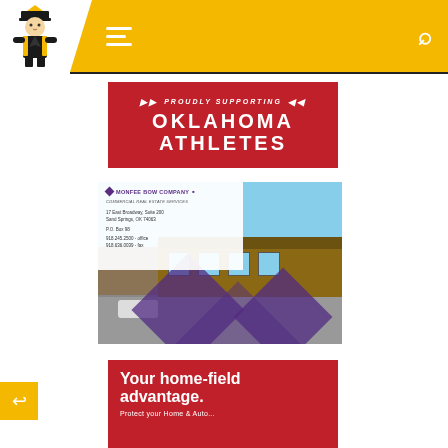Oklahoma Athletes — Navigation header with logo, menu, and search
[Figure (illustration): Red promotional banner reading 'Proudly Supporting Oklahoma Athletes' with decorative arrows]
[Figure (photo): Monfee Bow Company commercial real estate advertisement showing a brick building with purple diamond overlay graphics, address at 17 East Broadway Suite 200, Sand Springs OK 74063, PO Box 98, phone 918.245.2500 office, 918.636.0039 fax]
[Figure (illustration): Red banner ad reading 'Your home-field advantage. Protect your Home & Auto...']